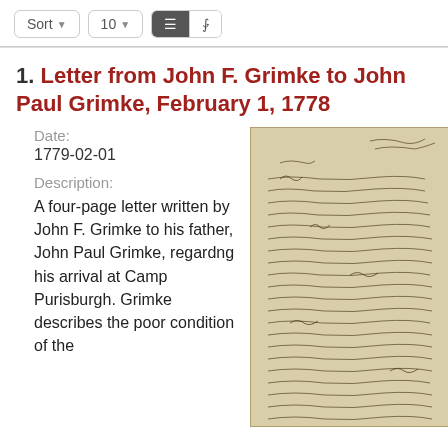Sort | 10 | [list view] [grid view]
1. Letter from John F. Grimke to John Paul Grimke, February 1, 1778
Date:
1779-02-01
Description:
A four-page letter written by John F. Grimke to his father, John Paul Grimke, regardng his arrival at Camp Purisburgh. Grimke describes the poor condition of the
[Figure (photo): Handwritten manuscript letter in cursive script on aged/yellowed paper, showing multiple lines of historical handwriting]